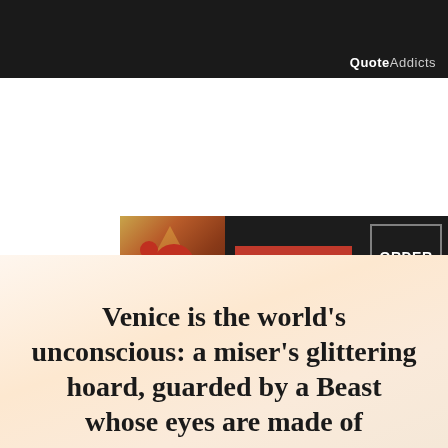[Figure (screenshot): Top black banner with QuoteAddicts logo in white text at bottom right]
[Figure (screenshot): Seamless food delivery advertisement banner with pizza image, red seamless button, and ORDER NOW button]
[Figure (screenshot): Social sharing buttons row: Pinterest (red), Facebook (blue), green 'helpful' button, red 'non helpful' button]
Venice is the world's unconscious: a miser's glittering hoard, guarded by a Beast whose eyes are made of